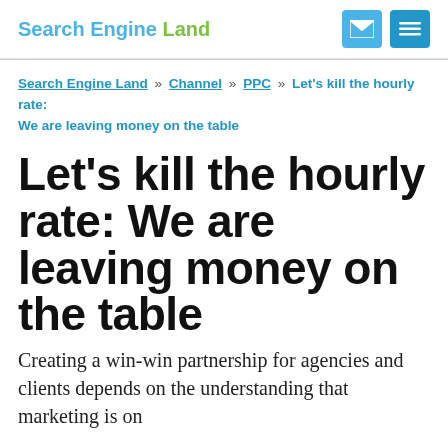Search Engine Land
Search Engine Land » Channel » PPC » Let's kill the hourly rate: We are leaving money on the table
Let's kill the hourly rate: We are leaving money on the table
Creating a win-win partnership for agencies and clients depends on the understanding that marketing is on